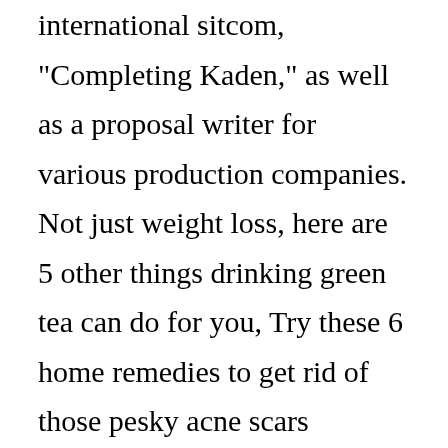international sitcom, "Completing Kaden," as well as a proposal writer for various production companies. Not just weight loss, here are 5 other things drinking green tea can do for you, Try these 6 home remedies to get rid of those pesky acne scars naturally, I used this DIY green tea toner for a month and it made my acne scars disappear. Mix rosewater, lemon essential oil into green tea, after sieving it. Plus food. Green Tea Toner. While the benefits of green tea specifically for the reduction of acne scars is under debate